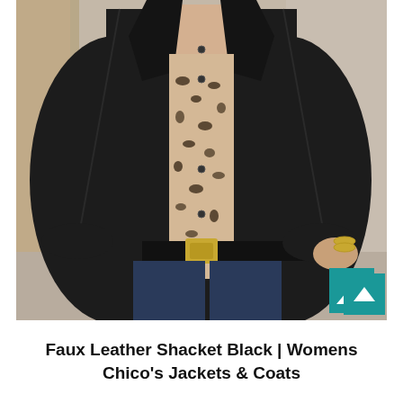[Figure (photo): A woman wearing a black faux leather shacket (shirt-jacket) open over a leopard print blouse, with dark jeans and a gold-buckle belt. The background is a neutral beige/tan. A teal scroll-to-top button with a white chevron arrow is visible in the lower-right of the photo.]
Faux Leather Shacket Black | Womens Chico's Jackets & Coats